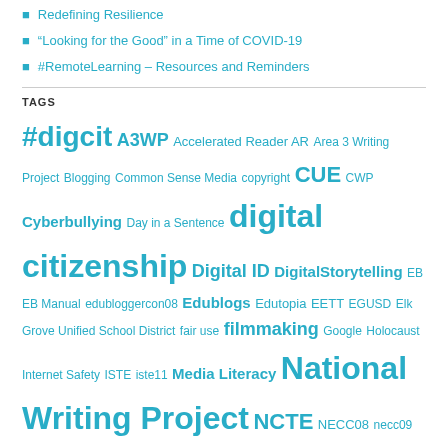Redefining Resilience
“Looking for the Good” in a Time of COVID-19
#RemoteLearning – Resources and Reminders
TAGS
#digcit A3WP Accelerated Reader AR Area 3 Writing Project Blogging Common Sense Media copyright CUE CWP Cyberbullying Day in a Sentence digital citizenship Digital ID DigitalStorytelling EB EB Manual edubloggercon08 Edublogs Edutopia EETT EGUSD Elk Grove Unified School District fair use filmmaking Google Holocaust Internet Safety ISTE iste11 Media Literacy National Writing Project NCTE NECC08 necc09 NECC2008 NWP PBL Rushton Hurley SECC SEVAs Teachers Teaching Teachers Time of Remembrance TOR Web 2.0